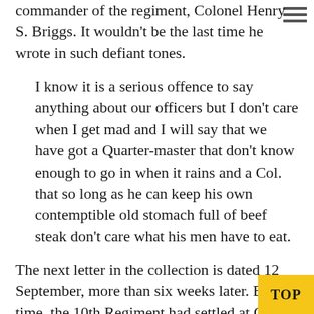commander of the regiment, Colonel Henry S. Briggs. It wouldn't be the last time he wrote in such defiant tones.
I know it is a serious offence to say anything about our officers but I don't care when I get mad and I will say that we have got a Quarter-master that don't know enough to go in when it rains and a Col. that so long as he can keep his own contemptible old stomach full of beef steak don't care what his men have to eat.
The next letter in the collection is dated 12 September, more than six weeks later. By this time, the 10th Regiment had settled at Camp Brightwood (a.k.a. Fort Massachusetts, a.k.a. Fort Stevens) in